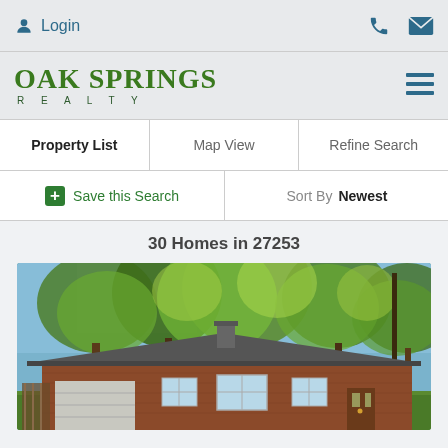Login
OAK SPRINGS REALTY
Property List | Map View | Refine Search
+ Save this Search   Sort By  Newest
30 Homes in 27253
[Figure (photo): Exterior photo of a brick ranch-style home with large trees in front, summer foliage, sunny day]